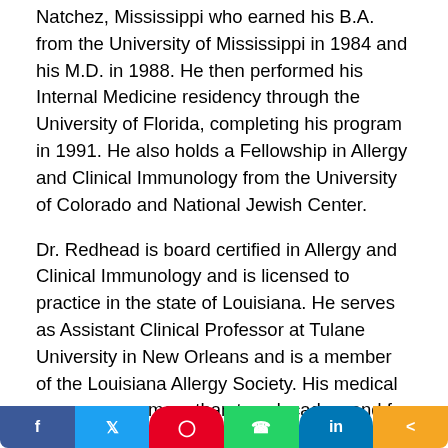Natchez, Mississippi who earned his B.A. from the University of Mississippi in 1984 and his M.D. in 1988. He then performed his Internal Medicine residency through the University of Florida, completing his program in 1991. He also holds a Fellowship in Allergy and Clinical Immunology from the University of Colorado and National Jewish Center.
Dr. Redhead is board certified in Allergy and Clinical Immunology and is licensed to practice in the state of Louisiana. He serves as Assistant Clinical Professor at Tulane University in New Orleans and is a member of the Louisiana Allergy Society. His medical career spans more than two decades, and for many years he has been selected by his peers to the Best Doctors in America list, an honor given annually to physicians across the nation from more than 40 specialties.